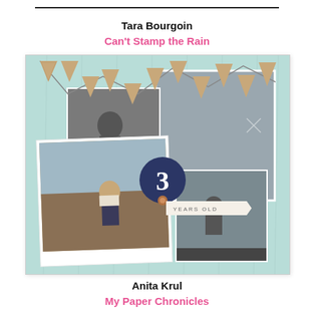Tara Bourgoin
Can't Stamp the Rain
[Figure (illustration): Scrapbook layout on mint/teal wood-grain background featuring bunting flags in burlap texture at top, a black-and-white photo of a child sitting outdoors (top left area), a large polaroid-style color photo of a child sitting near water (bottom left), a gray textured card (right), a small black-and-white photo of a child (bottom right), a navy circle badge with the number 3, and a banner reading 'YEARS OLD']
Anita Krul
My Paper Chronicles